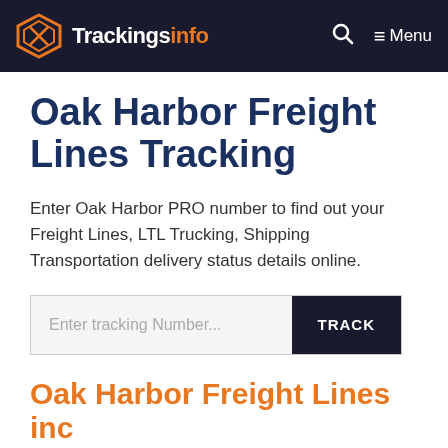Trackingsinfo — Menu
Oak Harbor Freight Lines Tracking
Enter Oak Harbor PRO number to find out your Freight Lines, LTL Trucking, Shipping Transportation delivery status details online.
[Figure (other): Tracking number input box with placeholder 'Enter tracking Number...' and a dark TRACK button]
Oak Harbor Freight Lines inc Customer Support